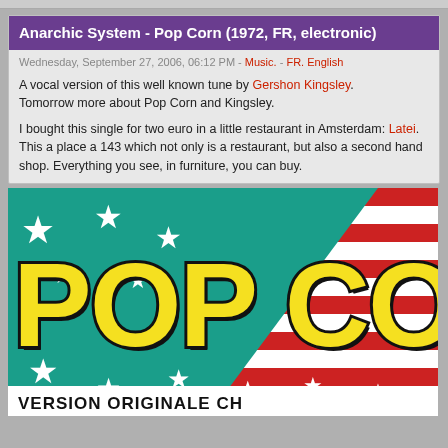Anarchic System - Pop Corn (1972, FR, electronic)
Wednesday, September 27, 2006, 06:12 PM - Music. - FR. English
A vocal version of this well known tune by Gershon Kingsley. Tomorrow more about Pop Corn and Kingsley.
I bought this single for two euro in a little restaurant in Amsterdam: Latei. This a place a 143 which not only is a restaurant, but also a second hand shop. Everything you see, in furniture, you can buy.
[Figure (photo): Album cover of Pop Corn by Anarchic System showing large yellow bold text 'POP COR' (cropped) on a teal/green background with white stars and American flag red and white stripes on the right side. At the bottom white bar reads 'VERSION ORIGINALE CH']